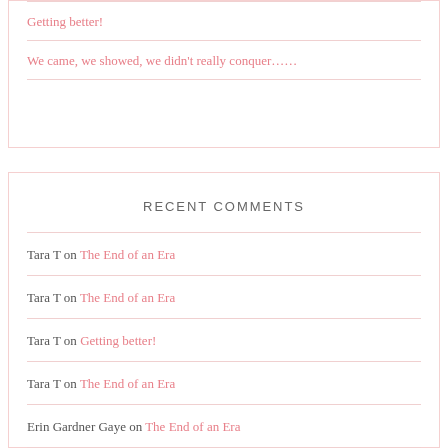Getting better!
We came, we showed, we didn't really conquer……
RECENT COMMENTS
Tara T on The End of an Era
Tara T on The End of an Era
Tara T on Getting better!
Tara T on The End of an Era
Erin Gardner Gaye on The End of an Era